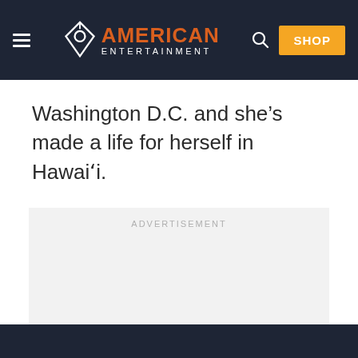American Entertainment — SHOP
Washington D.C. and she’s made a life for herself in Hawaiʻi.
[Figure (other): Advertisement placeholder box with light gray background and 'ADVERTISEMENT' label text centered at top]